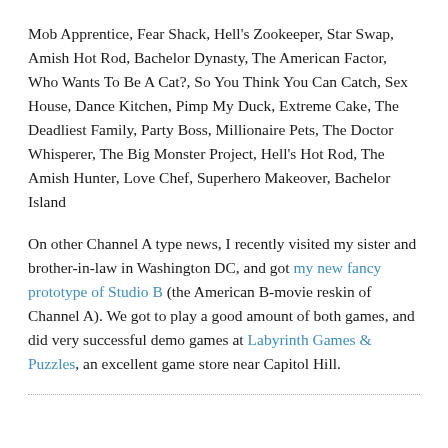Mob Apprentice, Fear Shack, Hell's Zookeeper, Star Swap, Amish Hot Rod, Bachelor Dynasty, The American Factor, Who Wants To Be A Cat?, So You Think You Can Catch, Sex House, Dance Kitchen, Pimp My Duck, Extreme Cake, The Deadliest Family, Party Boss, Millionaire Pets, The Doctor Whisperer, The Big Monster Project, Hell's Hot Rod, The Amish Hunter, Love Chef, Superhero Makeover, Bachelor Island
On other Channel A type news, I recently visited my sister and brother-in-law in Washington DC, and got my new fancy prototype of Studio B (the American B-movie reskin of Channel A). We got to play a good amount of both games, and did very successful demo games at Labyrinth Games & Puzzles, an excellent game store near Capitol Hill.